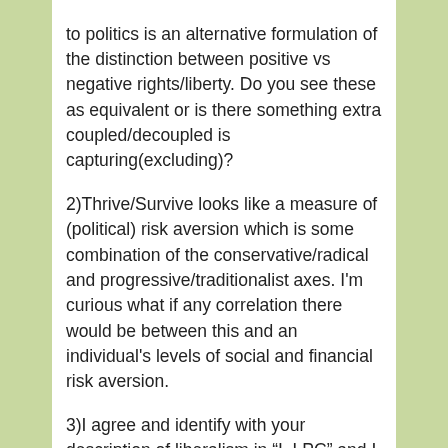to politics is an alternative formulation of the distinction between positive vs negative rights/liberty. Do you see these as equivalent or is there something extra coupled/decoupled is capturing(excluding)?
2)Thrive/Survive looks like a measure of (political) risk aversion which is some combination of the conservative/radical and progressive/traditionalist axes. I'm curious what if any correlation there would be between this and an individual's levels of social and financial risk aversion.
3)I agree and identify with your description of liberalism in "I, LPC" and I agree that liberal support for say fighting poverty and other aspects of the welfare state isn't for "coupled" reasons. However, I don't think it has to be for "thrive reasons" The survive reason which resonates with